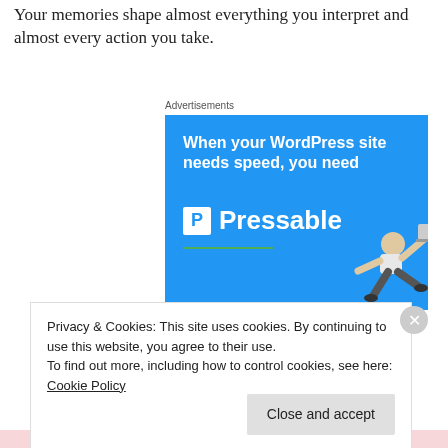Your memories shape almost everything you interpret and almost every action you take.
Advertisements
[Figure (illustration): Advertisement for Pressable WordPress hosting. Blue background with bold white text 'When your WordPress site needs speed, you need' followed by Pressable logo and brand name, with a green underline and a person leaping with a laptop in the lower right.]
Privacy & Cookies: This site uses cookies. By continuing to use this website, you agree to their use.
To find out more, including how to control cookies, see here: Cookie Policy